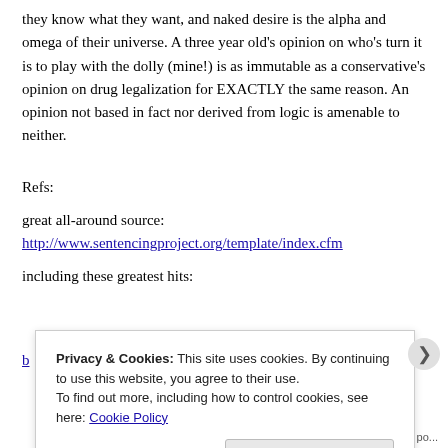they know what they want, and naked desire is the alpha and omega of their universe. A three year old's opinion on who's turn it is to play with the dolly (mine!) is as immutable as a conservative's opinion on drug legalization for EXACTLY the same reason. An opinion not based in fact nor derived from logic is amenable to neither.
Refs:
great all-around source:
http://www.sentencingproject.org/template/index.cfm
including these greatest hits:
Privacy & Cookies: This site uses cookies. By continuing to use this website, you agree to their use.
To find out more, including how to control cookies, see here: Cookie Policy
Close and accept